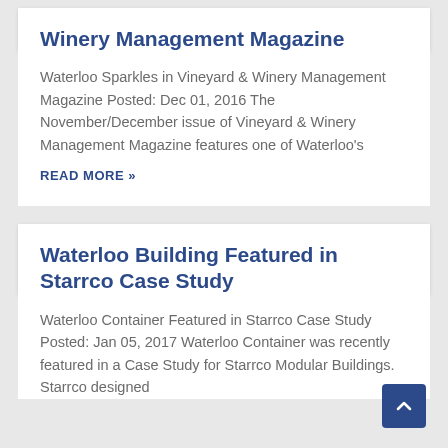Winery Management Magazine
Waterloo Sparkles in Vineyard & Winery Management Magazine Posted: Dec 01, 2016 The November/December issue of Vineyard & Winery Management Magazine features one of Waterloo's
READ MORE »
Waterloo Building Featured in Starrco Case Study
Waterloo Container Featured in Starrco Case Study Posted: Jan 05, 2017 Waterloo Container was recently featured in a Case Study for Starrco Modular Buildings. Starrco designed